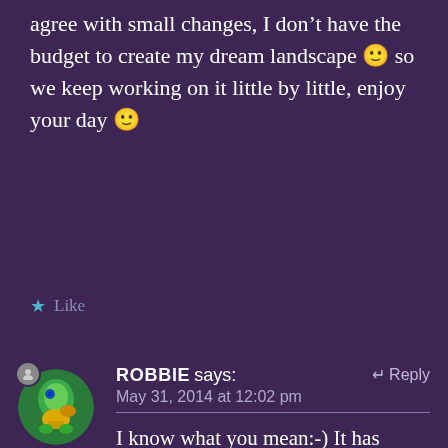agree with small changes, I don't have the budget to create my dream landscape 🙂 so we keep working on it little by little, enjoy your day 🙂
★ Like
ROBBIE says:
↩ Reply
May 31, 2014 at 12:02 pm
I know what you mean:-) It has taken me 15 yrs in the same spot and just working a little bit at a time. I have changed in my goals, too over the years as well as the landscape of my small space. I have had to adapt but it